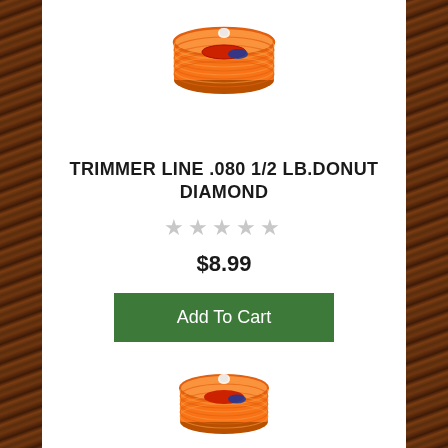[Figure (photo): Orange trimmer line donut/spool product image, top view showing circular coiled orange line with red and blue label in center]
TRIMMER LINE .080 1/2 LB.DONUT DIAMOND
★★★★★ (5 empty stars rating)
$8.99
Add To Cart
[Figure (photo): Second orange trimmer line donut/spool product image, partially visible at bottom of page]